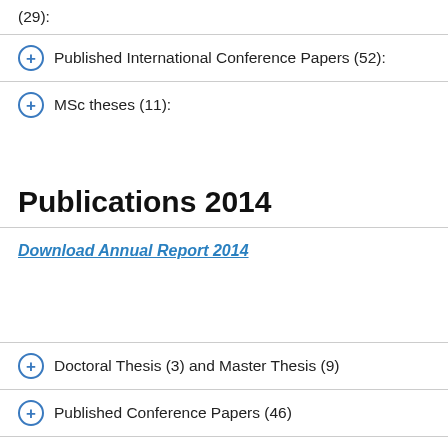(29):
Published International Conference Papers (52):
MSc theses (11):
Publications 2014
Download Annual Report 2014
Doctoral Thesis (3) and Master Thesis (9)
Published Conference Papers (46)